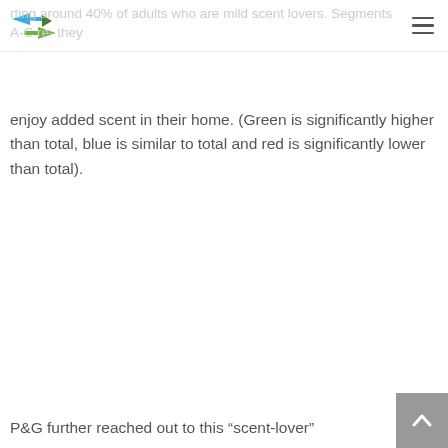[logo] [menu icon]
...rting around 40% of adults who are mild scent lovers. Segments A-C re- they enjoy added scent in their home. (Green is significantly higher than total, blue is similar to total and red is significantly lower than total).
P&G further reached out to this “scent-lover”